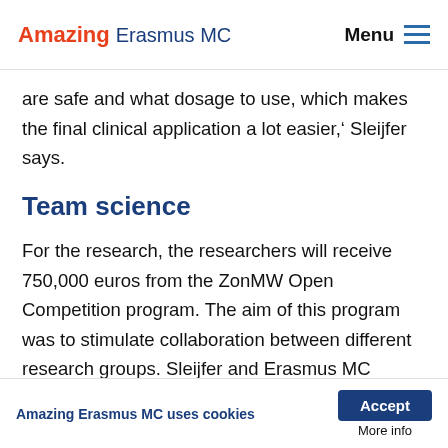Amazing Erasmus MC | Menu
are safe and what dosage to use, which makes the final clinical application a lot easier,' Sleijfer says.
Team science
For the research, the researchers will receive 750,000 euros from the ZonMW Open Competition program. The aim of this program was to stimulate collaboration between different research groups. Sleijfer and Erasmus MC Professor John Martens are therefore working together with Professor Peter
Amazing Erasmus MC uses cookies | Accept | More info